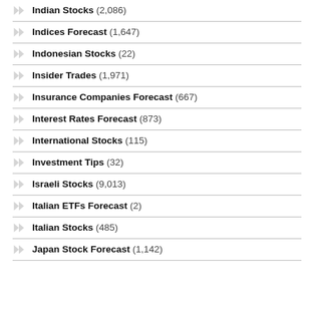Indian Stocks (2,086)
Indices Forecast (1,647)
Indonesian Stocks (22)
Insider Trades (1,971)
Insurance Companies Forecast (667)
Interest Rates Forecast (873)
International Stocks (115)
Investment Tips (32)
Israeli Stocks (9,013)
Italian ETFs Forecast (2)
Italian Stocks (485)
Japan Stock Forecast (1,142)